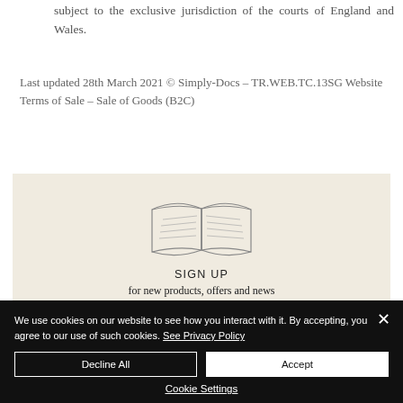subject to the exclusive jurisdiction of the courts of England and Wales.
Last updated 28th March 2021 © Simply-Docs – TR.WEB.TC.13SG Website Terms of Sale – Sale of Goods (B2C)
[Figure (illustration): Open book illustration with 'SIGN UP for new products, offers and news' text on a beige background banner]
We use cookies on our website to see how you interact with it. By accepting, you agree to our use of such cookies. See Privacy Policy
Decline All
Accept
Cookie Settings